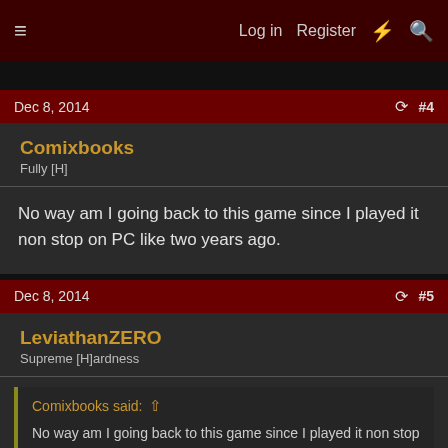≡   Log in   Register   ⚡   🔍
Dec 8, 2014   #4
Comixbooks
Fully [H]
No way am I going back to this game since I played it non stop on PC like two years ago.
Dec 8, 2014   #5
LeviathanZERO
Supreme [H]ardness
Comixbooks said: ↑
No way am I going back to this game since I played it non stop on PC like two years ago.